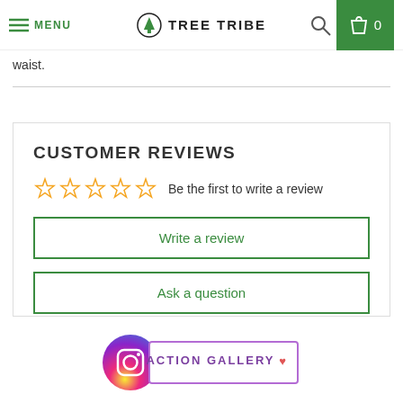MENU | TREE TRIBE | 0
waist.
CUSTOMER REVIEWS
☆☆☆☆☆  Be the first to write a review
Write a review
Ask a question
[Figure (logo): Instagram logo circle with ACTION GALLERY text and heart icon inside a bordered rectangle]